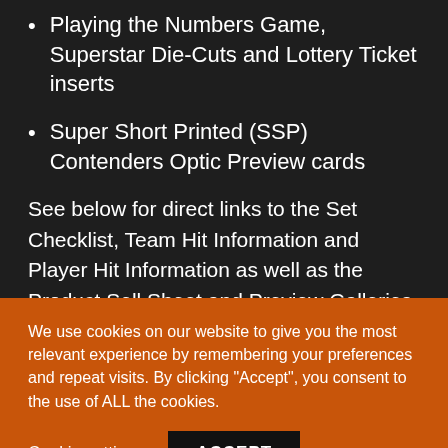Playing the Numbers Game, Superstar Die-Cuts and Lottery Ticket inserts
Super Short Printed (SSP) Contenders Optic Preview cards
See below for direct links to the Set Checklist, Team Hit Information and Player Hit Information as well as the Product Sell Sheet and Preview Galleries.
We use cookies on our website to give you the most relevant experience by remembering your preferences and repeat visits. By clicking “Accept”, you consent to the use of ALL the cookies.
Cookie settings  ACCEPT